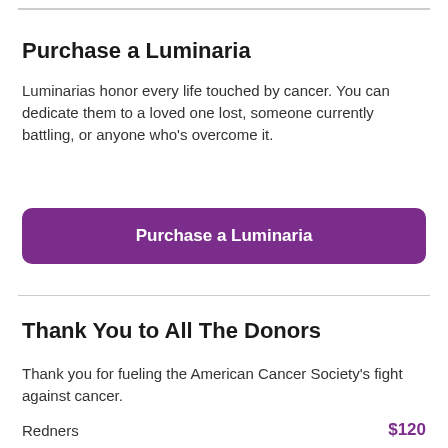Purchase a Luminaria
Luminarias honor every life touched by cancer. You can dedicate them to a loved one lost, someone currently battling, or anyone who's overcome it.
[Figure (other): Purple rounded button labeled 'Purchase a Luminaria']
Thank You to All The Donors
Thank you for fueling the American Cancer Society's fight against cancer.
Redners    $120